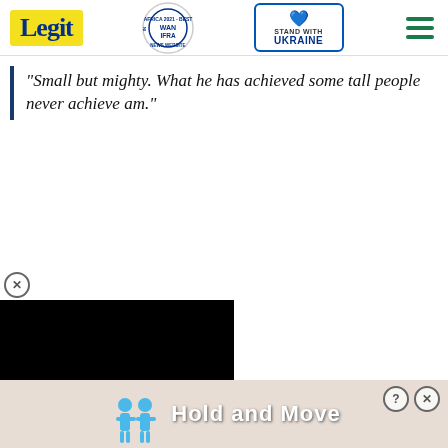Legit — WAN IFRA 2021 Best News Website in Africa — Stand with Ukraine
"Small but mighty. What he has achieved some tall people never achieve am."
[Figure (screenshot): Video player overlay with black screen and red chevron/close button]
[Figure (screenshot): Ad banner at bottom: Hold and Move with animated figures, help and close icons]